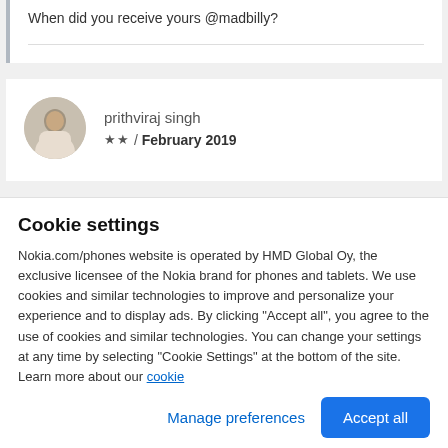When did you receive yours @madbilly?
prithviraj singh
★★ / February 2019
Cookie settings
Nokia.com/phones website is operated by HMD Global Oy, the exclusive licensee of the Nokia brand for phones and tablets. We use cookies and similar technologies to improve and personalize your experience and to display ads. By clicking "Accept all", you agree to the use of cookies and similar technologies. You can change your settings at any time by selecting "Cookie Settings" at the bottom of the site. Learn more about our cookie
Manage preferences
Accept all